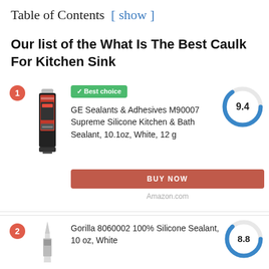Table of Contents [ show ]
Our list of the What Is The Best Caulk For Kitchen Sink
1. GE Sealants & Adhesives M90007 Supreme Silicone Kitchen & Bath Sealant, 10.1oz, White, 12 g — Best choice — Score: 9.4 — BUY NOW — Amazon.com
2. Gorilla 8060002 100% Silicone Sealant, 10 oz, White — Score: 8.8